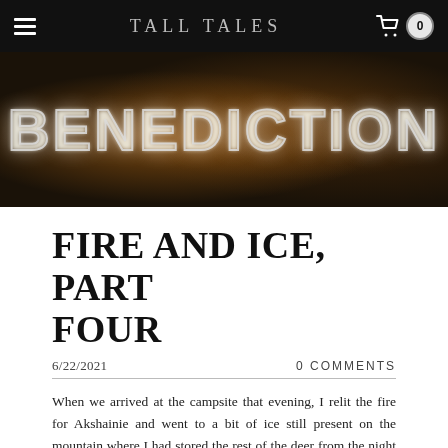TALL TALES
[Figure (photo): Dark banner image showing the word BENEDICTION in large outlined letters with a glowing neon effect, overlaid on a dark background with amber/warm lighting suggesting musicians or performers.]
FIRE AND ICE, PART FOUR
6/22/2021
0 COMMENTS
When we arrived at the campsite that evening, I relit the fire for Akshainie and went to a bit of ice still present on the mountain where I had stored the rest of the deer from the night before. Gathering a sufficient chunk for our dinner, I brought it back and held it over the fire. Akshainie was back in her naga form, had been for a few hours now, and her body was coiled around the fire as close to the stones as